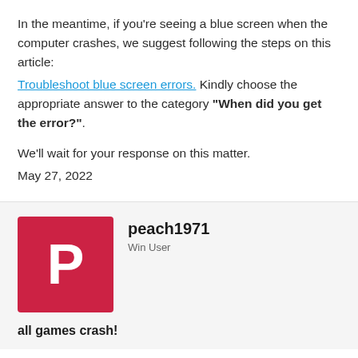In the meantime, if you're seeing a blue screen when the computer crashes, we suggest following the steps on this article: Troubleshoot blue screen errors. Kindly choose the appropriate answer to the category "When did you get the error?".
We'll wait for your response on this matter.
May 27, 2022
[Figure (other): Red square avatar with white letter P representing user peach1971]
peach1971
Win User
all games crash!